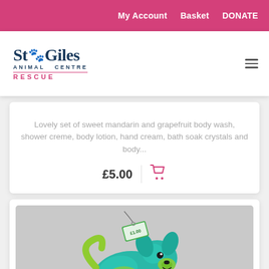My Account   Basket   DONATE
[Figure (logo): St Giles Animal Centre Rescue logo with paw print icon]
Lovely set of sweet mandarin and grapefruit body wash, shower creme, body lotion, hand cream, bath soak crystals and body...
£5.00
[Figure (photo): A teal and green metal dog figurine toy with a price tag attached, on a grey background]